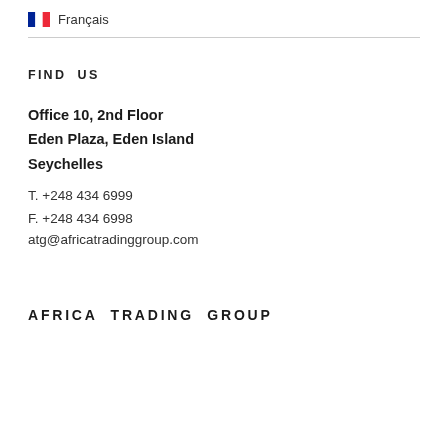🇫🇷 Français
FIND US
Office 10, 2nd Floor
Eden Plaza, Eden Island
Seychelles
T. +248 434 6999
F. +248 434 6998
atg@africatradinggroup.com
AFRICA TRADING GROUP